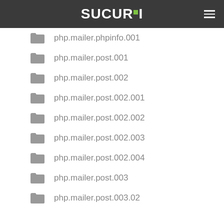SUCURI
php.mailer.phpinfo.001
php.mailer.post.001
php.mailer.post.002
php.mailer.post.002.001
php.mailer.post.002.002
php.mailer.post.002.003
php.mailer.post.002.004
php.mailer.post.003
php.mailer.post.003.02